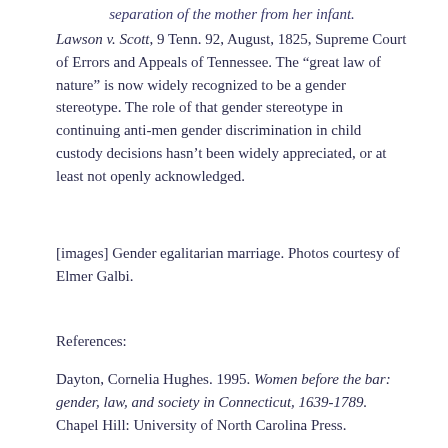separation of the mother from her infant.
Lawson v. Scott, 9 Tenn. 92, August, 1825, Supreme Court of Errors and Appeals of Tennessee. The “great law of nature” is now widely recognized to be a gender stereotype. The role of that gender stereotype in continuing anti-men gender discrimination in child custody decisions hasn’t been widely appreciated, or at least not openly acknowledged.
[images] Gender egalitarian marriage. Photos courtesy of Elmer Galbi.
References:
Dayton, Cornelia Hughes. 1995. Women before the bar: gender, law, and society in Connecticut, 1639-1789. Chapel Hill: University of North Carolina Press.